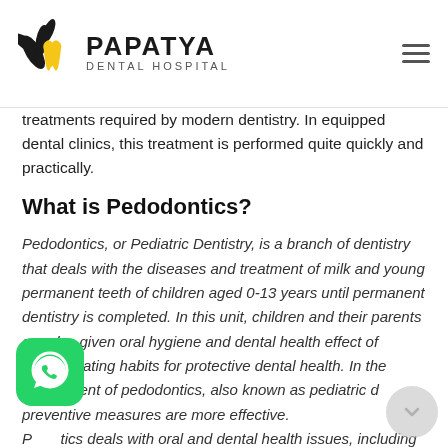PAPATYA DENTAL HOSPITAL
treatments required by modern dentistry. In equipped dental clinics, this treatment is performed quite quickly and practically.
What is Pedodontics?
Pedodontics, or Pediatric Dentistry, is a branch of dentistry that deals with the diseases and treatment of milk and young permanent teeth of children aged 0-13 years until permanent dentistry is completed. In this unit, children and their parents are also given oral hygiene and dental health effect of healthy eating habits for protective dental health. In the Department of pedodontics, also known as pediatric d preventive measures are more effective. P tics deals with oral and dental health issues, including the protection of milk and permanent teeth of
[Figure (logo): WhatsApp button icon (green rounded square with white WhatsApp logo)]